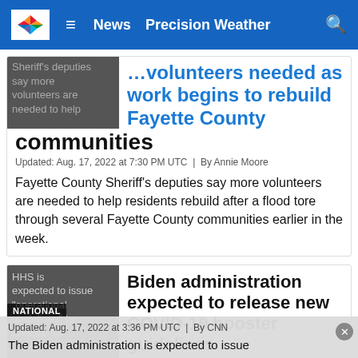WVVA | News | Precision Weather
Volunteers needed as work begins to rebuild Fayette County
Updated: Aug. 17, 2022 at 7:30 PM UTC | By Annie Moore
Fayette County Sheriff's deputies say more volunteers are needed to help residents rebuild after a flood tore through several Fayette County communities earlier in the week.
Biden administration expected to release new COVID-19 booster guidelines
Updated: Aug. 17, 2022 at 3:36 PM UTC | By CNN
The Biden administration is expected to issue